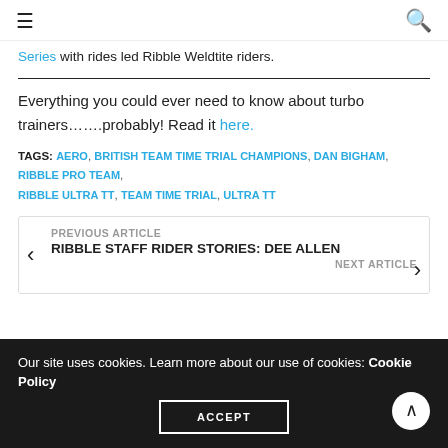≡  🔍
Series with rides led Ribble Weldtite riders.
Everything you could ever need to know about turbo trainers…….probably! Read it here.
TAGS: AERO, BRITISH TEAM TIME TRIAL CHAMPIONS, DAN BIGHAM, RIBBLE PRO TEAM, RIBBLE ULTRA TT, TEAM TIME TRIAL, ULTRA TT
PREVIOUS ARTICLE
RIBBLE STAFF RIDER STORIES: DEE ALLEN
NEXT ARTICLE
Our site uses cookies. Learn more about our use of cookies: Cookie Policy